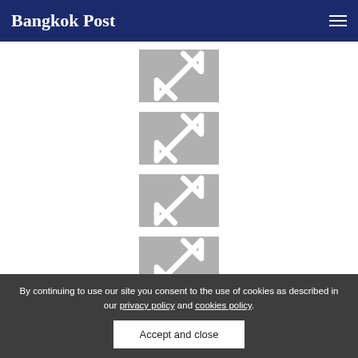Bangkok Post
[Figure (other): Gray thumbnail placeholder with expand/resize arrow icon]
[Figure (other): Gray thumbnail placeholder with expand/resize arrow icon]
[Figure (other): Gray thumbnail placeholder with expand/resize arrow icon]
[Figure (other): Gray thumbnail placeholder with expand/resize arrow icon]
To create a warm, welcoming atmosphere, the
By continuing to use our site you consent to the use of cookies as described in our privacy policy and cookies policy.
Accept and close